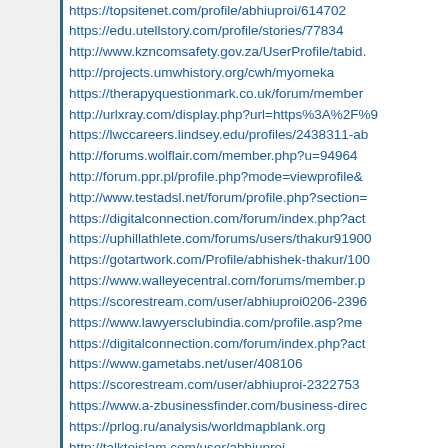https://topsitenet.com/profile/abhiuproi/614702
https://edu.utellstory.com/profile/stories/77834
http://www.kzncomsafety.gov.za/UserProfile/tabid...
http://projects.umwhistory.org/cwh/myomeka
https://therapyquestionmark.co.uk/forum/member...
http://urlxray.com/display.php?url=https%3A%2F%...
https://lwccareers.lindsey.edu/profiles/2438311-ab...
http://forums.wolflair.com/member.php?u=94964
http://forum.ppr.pl/profile.php?mode=viewprofile&...
http://www.testadsl.net/forum/profile.php?section=...
https://digitalconnection.com/forum/index.php?act...
https://uphillathlete.com/forums/users/thakur9190...
https://gotartwork.com/Profile/abhishek-thakur/100...
https://www.walleyecentral.com/forums/member.p...
https://scorestream.com/user/abhiuproi0206-2396...
https://www.lawyersclubindia.com/profile.asp?me...
https://digitalconnection.com/forum/index.php?act...
https://www.gametabs.net/user/408106
https://scorestream.com/user/abhiuproi-2322753
https://www.a-zbusinessfinder.com/business-direc...
https://prlog.ru/analysis/worldmapblank.org
http://talktoislam.com/user/abhiuproi
https://forum.kryptronic.com/profile.php?id=16461...
https://www.centralfloridalifestyle.com/members/a...
https://www.recipecommunity.com.au/__empty__/...
https://myopportunity.com/en/profile/abhishek-th...